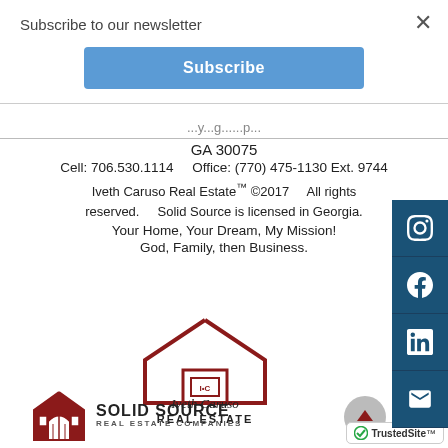Subscribe to our newsletter
Subscribe
GA 30075
Cell: 706.530.1114     Office: (770) 475-1130 Ext. 9744
Iveth Caruso Real Estate™ ©2017     All rights reserved.     Solid Source is licensed in Georgia.
Your Home, Your Dream, My Mission!
God, Family, then Business.
[Figure (logo): Iveth Caruso Real Estate logo with house icon and script text]
[Figure (logo): Solid Source Real Estate Companies logo]
[Figure (logo): TrustedSite badge]